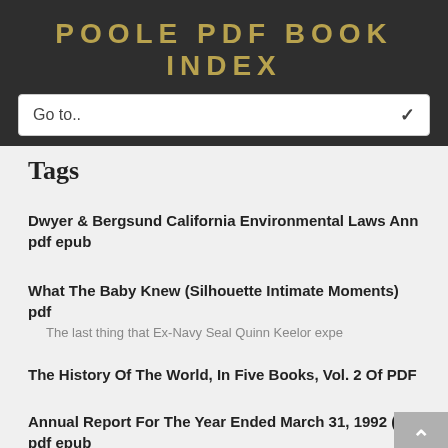POOLE PDF BOOK INDEX
Go to..
Tags
Dwyer & Bergsund California Environmental Laws Ann pdf epub
What The Baby Knew (Silhouette Intimate Moments) pdf
The last thing that Ex-Navy Seal Quinn Keelor expe
The History Of The World, In Five Books, Vol. 2 Of PDF
Annual Report For The Year Ended March 31, 1992 (C pdf epub